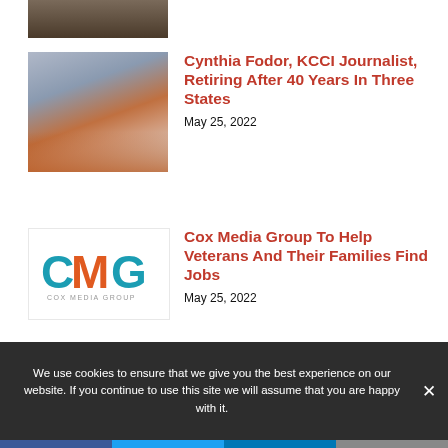[Figure (photo): Partial image of a person in a suit, cropped at top]
[Figure (photo): Female journalist in red jacket on street with camera crew]
Cynthia Fodor, KCCI Journalist, Retiring After 40 Years In Three States
May 25, 2022
[Figure (logo): Cox Media Group (CMG) logo]
Cox Media Group To Help Veterans And Their Families Find Jobs
May 25, 2022
We use cookies to ensure that we give you the best experience on our website. If you continue to use this site we will assume that you are happy with it.